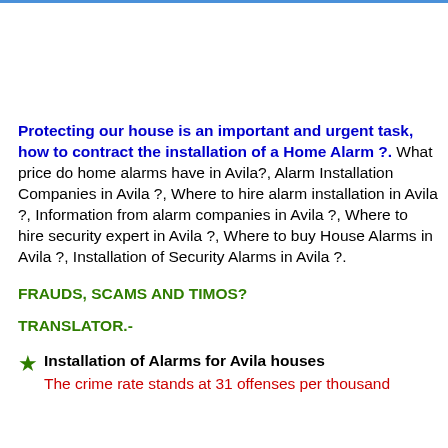Protecting our house is an important and urgent task, how to contract the installation of a Home Alarm ?. What price do home alarms have in Avila?, Alarm Installation Companies in Avila ?, Where to hire alarm installation in Avila ?, Information from alarm companies in Avila ?, Where to hire security expert in Avila ?, Where to buy House Alarms in Avila ?, Installation of Security Alarms in Avila ?.
FRAUDS, SCAMS AND TIMOS?
TRANSLATOR.-
★ Installation of Alarms for Avila houses
The crime rate stands at 31 offenses per thousand